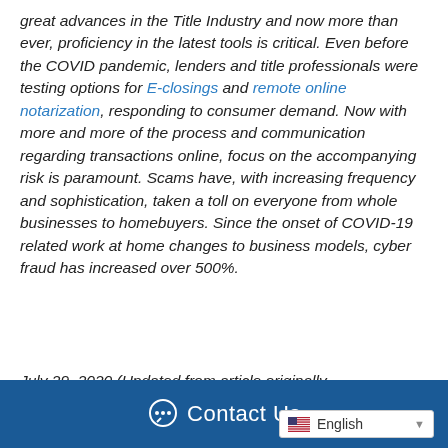great advances in the Title Industry and now more than ever, proficiency in the latest tools is critical. Even before the COVID pandemic, lenders and title professionals were testing options for E-closings and remote online notarization, responding to consumer demand. Now with more and more of the process and communication regarding transactions online, focus on the accompanying risk is paramount. Scams have, with increasing frequency and sophistication, taken a toll on everyone from whole businesses to homebuyers. Since the onset of COVID-19 related work at home changes to business models, cyber fraud has increased over 500%.
July 29, 2020 (Updated from article originally
Contact Us